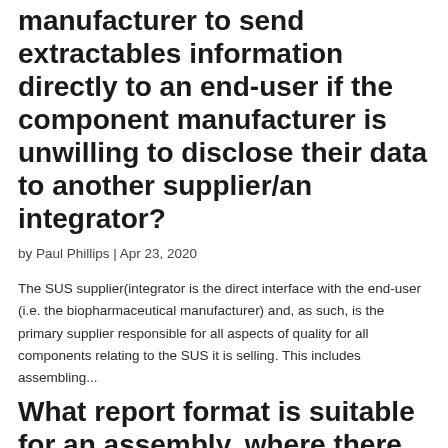manufacturer to send extractables information directly to an end-user if the component manufacturer is unwilling to disclose their data to another supplier/an integrator?
by Paul Phillips | Apr 23, 2020
The SUS supplier(integrator is the direct interface with the end-user (i.e. the biopharmaceutical manufacturer) and, as such, is the primary supplier responsible for all aspects of quality for all components relating to the SUS it is selling. This includes assembling...
What report format is suitable for an assembly, where there is one extractables study for